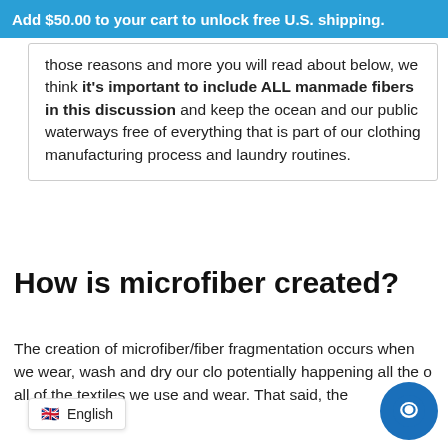Add $50.00 to your cart to unlock free U.S. shipping.
those reasons and more you will read about below, we think it's important to include ALL manmade fibers in this discussion and keep the ocean and our public waterways free of everything that is part of our clothing manufacturing process and laundry routines.
How is microfiber created?
The creation of microfiber/fiber fragmentation occurs when we wear, wash and dry our clo potentially happening all the o all of the textiles we use and wear. That said, the